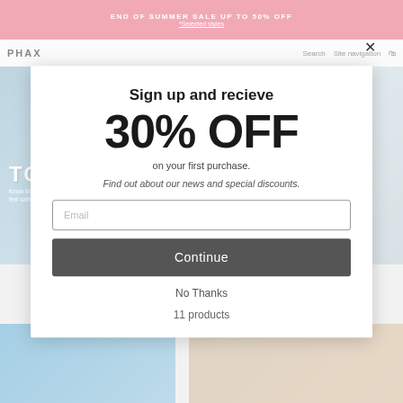END OF SUMMER SALE UP TO 50% OFF *Selected styles
[Figure (screenshot): Website navigation bar with PHAX logo, search and site navigation links, and shopping bag icon]
[Figure (photo): Beach scene with two women in bikinis standing near the ocean, TOPS category overlay text reading 'Know the styles you need and feel safe and happy on the beach.']
Sign up and recieve
30% OFF
on your first purchase.
Find out about our news and special discounts.
Email
Continue
No Thanks
11 products
[Figure (photo): Product thumbnail showing swimwear top on blue background]
[Figure (photo): Product thumbnail showing swimwear on beige/tan background]